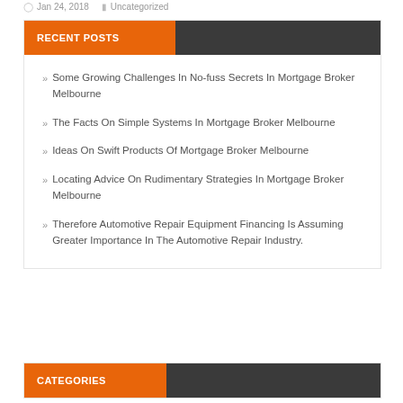Jan 24, 2018  Uncategorized
RECENT POSTS
Some Growing Challenges In No-fuss Secrets In Mortgage Broker Melbourne
The Facts On Simple Systems In Mortgage Broker Melbourne
Ideas On Swift Products Of Mortgage Broker Melbourne
Locating Advice On Rudimentary Strategies In Mortgage Broker Melbourne
Therefore Automotive Repair Equipment Financing Is Assuming Greater Importance In The Automotive Repair Industry.
CATEGORIES